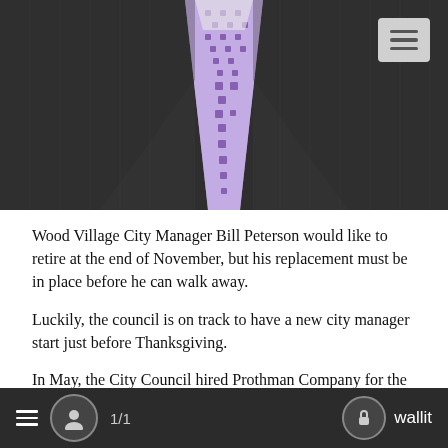[Figure (photo): Photo of a man in a dark pinstripe suit with a purple/lavender patterned tie, showing torso/chest area only. A hamburger menu button is visible in the top right corner.]
Wood Village City Manager Bill Peterson would like to retire at the end of November, but his replacement must be in place before he can walk away.
Luckily, the council is on track to have a new city manager start just before Thanksgiving.
In May, the City Council hired Prothman Company for the recruitment process. At the council's latest meeting on Tuesday, July 9, the council continued moving forward on their selection process for city's top management official.
"We put together the initial provisions," Peterson told the council. "It's up to you how to precisely proceed with the details of that
≡  👤  1/1  🔒 wallit